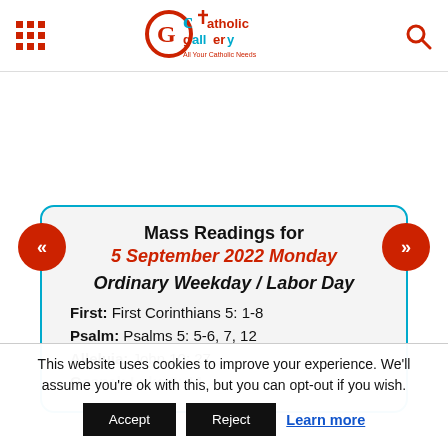Catholic Gallery - All Your Catholic Needs
Mass Readings for 5 September 2022 Monday
Ordinary Weekday / Labor Day
First: First Corinthians 5: 1-8
Psalm: Psalms 5: 5-6, 7, 12
Alleluia: John 10: 27
This website uses cookies to improve your experience. We'll assume you're ok with this, but you can opt-out if you wish.